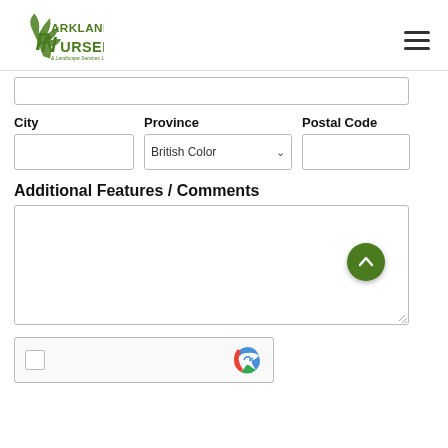[Figure (logo): Parkland Nursery & Landscape Services Ltd. logo with green leaf and plant design]
City
Province
Postal Code
Additional Features / Comments
[Figure (screenshot): reCAPTCHA widget at bottom of page]